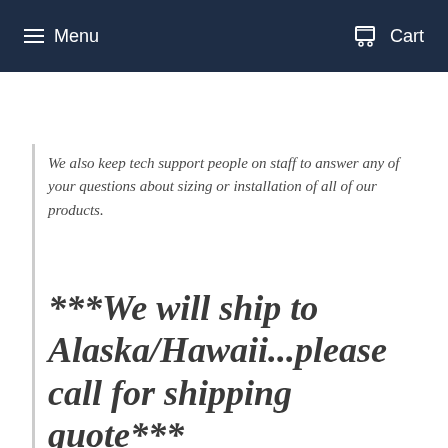Menu   Cart
We also keep tech support people on staff to answer any of your questions about sizing or installation of all of our products.
***We will ship to Alaska/Hawaii...please call for shipping quote***
Shipping of larger items are freight truck. Smaller items are shipped UPS or Speedee.  If your purchase is for